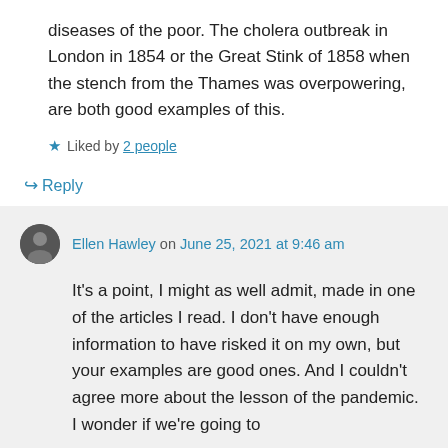diseases of the poor. The cholera outbreak in London in 1854 or the Great Stink of 1858 when the stench from the Thames was overpowering, are both good examples of this.
★ Liked by 2 people
↪ Reply
Ellen Hawley on June 25, 2021 at 9:46 am
It's a point, I might as well admit, made in one of the articles I read. I don't have enough information to have risked it on my own, but your examples are good ones. And I couldn't agree more about the lesson of the pandemic. I wonder if we're going to